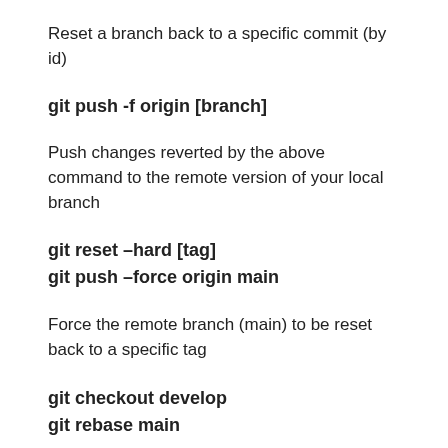Reset a branch back to a specific commit (by id)
git push -f origin [branch]
Push changes reverted by the above command to the remote version of your local branch
git reset –hard [tag]
git push –force origin main
Force the remote branch (main) to be reset back to a specific tag
git checkout develop
git rebase main